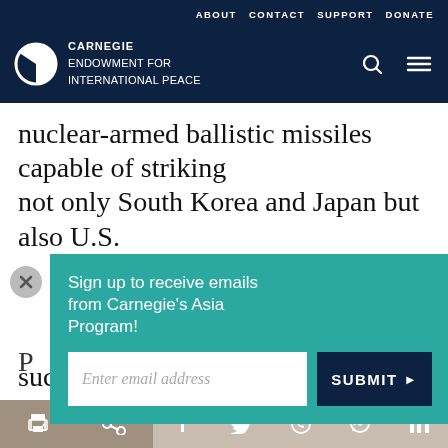ABOUT  CONTACT  SUPPORT  DONATE
[Figure (logo): Carnegie Endowment for International Peace logo with white circle/pie icon and white text on dark navy background]
nuclear-armed ballistic missiles capable of striking not only South Korea and Japan but also U.S.
Sign up to receive emails from Carnegie's Asia Program!
Enter email address
SUBMIT ▶
such apparent resolve, Washington, Beijing, Seoul,
Tokyo and various...
Print | Share | Facebook | Twitter | WhatsApp | Messenger | LinkedIn